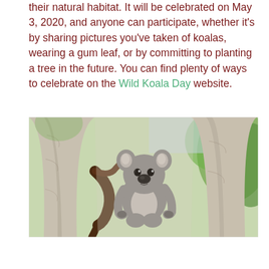their natural habitat. It will be celebrated on May 3, 2020, and anyone can participate, whether it's by sharing pictures you've taken of koalas, wearing a gum leaf, or by committing to planting a tree in the future. You can find plenty of ways to celebrate on the Wild Koala Day website.
[Figure (photo): A koala sitting in the fork of a large eucalyptus tree, looking directly at the camera. The tree bark is pale grey and smooth. Green eucalyptus leaves are visible in the background.]